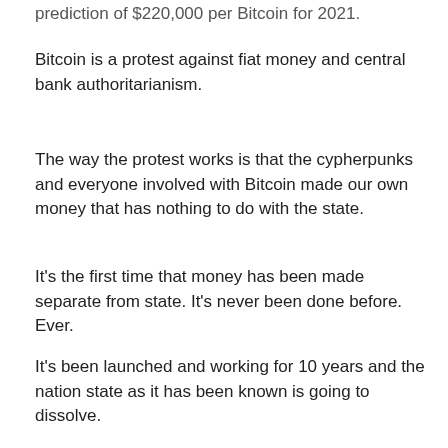prediction of $220,000 per Bitcoin for 2021.
Bitcoin is a protest against fiat money and central bank authoritarianism.
The way the protest works is that the cypherpunks and everyone involved with Bitcoin made our own money that has nothing to do with the state.
It's the first time that money has been made separate from state. It's never been done before. Ever.
It's been launched and working for 10 years and the nation state as it has been known is going to dissolve.
Banks are going to dissolve and fiat money is going to go the way that all fiat money has gone.
Not a single fiat money system has lasted. They've all their gone to zero or else lost 99% of their purchasing power